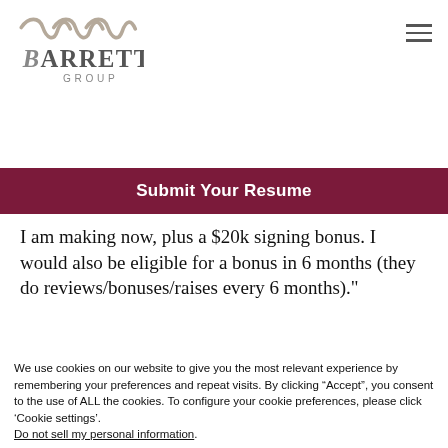Barrett Group
Submit Your Resume
I am making now, plus a $20k signing bonus. I would also be eligible for a bonus in 6 months (they do reviews/bonuses/raises every 6 months)."
We use cookies on our website to give you the most relevant experience by remembering your preferences and repeat visits. By clicking “Accept”, you consent to the use of ALL the cookies. To configure your cookie preferences, please click ‘Cookie settings’. Do not sell my personal information.
Cookie settings  ACCEPT  REJECT